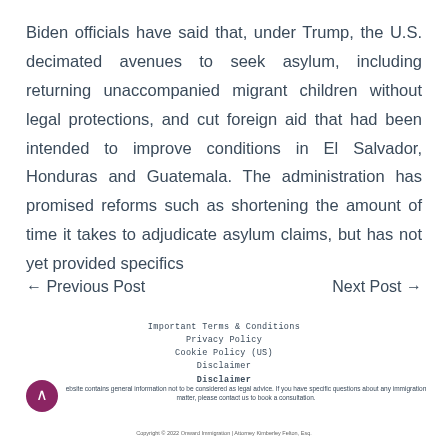Biden officials have said that, under Trump, the U.S. decimated avenues to seek asylum, including returning unaccompanied migrant children without legal protections, and cut foreign aid that had been intended to improve conditions in El Salvador, Honduras and Guatemala. The administration has promised reforms such as shortening the amount of time it takes to adjudicate asylum claims, but has not yet provided specifics
← Previous Post
Next Post →
Important Terms & Conditions | Privacy Policy | Cookie Policy (US) | Disclaimer | Disclaimer | This website contains general information not to be considered as legal advice. If you have specific questions about any immigration matter, please contact us to book a consultation. | Copyright © 2022 Onward Immigration | Attorney Kimberley Felton, Esq.